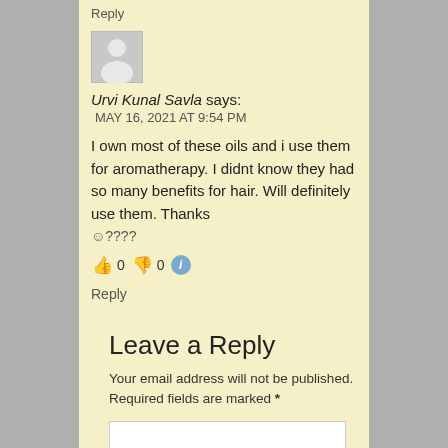Reply
[Figure (illustration): Generic user avatar placeholder icon — gray square with white person silhouette]
Urvi Kunal Savla says:
MAY 16, 2021 AT 9:54 PM
I own most of these oils and i use them for aromatherapy. I didnt know they had so many benefits for hair. Will definitely use them. Thanks ☺????
[Figure (infographic): Thumbs up icon (orange/brown) with count 0, thumbs down icon (red) with count 0, and blue info circle icon]
Reply
Leave a Reply
Your email address will not be published. Required fields are marked *